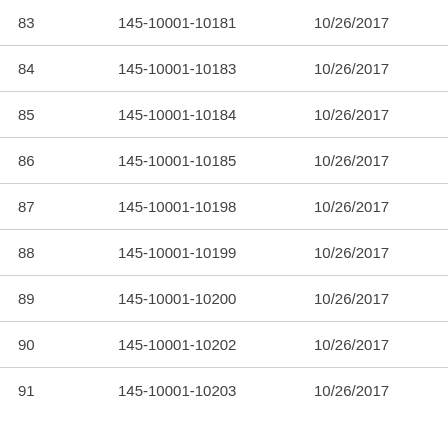| 83 | 145-10001-10181 | 10/26/2017 | In Pa |
| 84 | 145-10001-10183 | 10/26/2017 | In Pa |
| 85 | 145-10001-10184 | 10/26/2017 | In Pa |
| 86 | 145-10001-10185 | 10/26/2017 | In Pa |
| 87 | 145-10001-10198 | 10/26/2017 | In Pa |
| 88 | 145-10001-10199 | 10/26/2017 | In Pa |
| 89 | 145-10001-10200 | 10/26/2017 | In Pa |
| 90 | 145-10001-10202 | 10/26/2017 | In Pa |
| 91 | 145-10001-10203 | 10/26/2017 | In Pa |